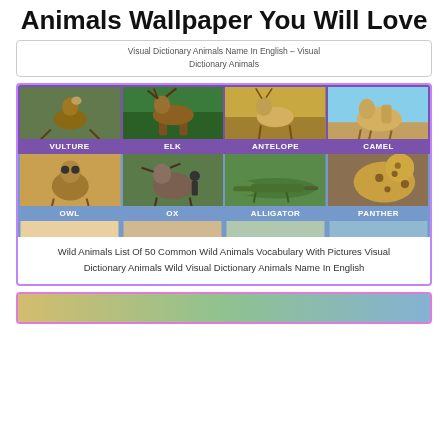Animals Wallpaper You Will Love
Visual Dictionary Animals Name In English - Visual Dictionary Animals
[Figure (infographic): Animal infographic grid showing Vulture, Elk, Antelope, Camel in row 1 and Owl, Ox, Alligator, Panther in row 2, each with a photo and label on colored background (purple and blue)]
Wild Animals List Of 50 Common Wild Animals Vocabulary With Pictures Visual Dictionary Animals Wild Visual Dictionary Animals Name In English
[Figure (illustration): Partial view of another animal card at the bottom, partially cut off]